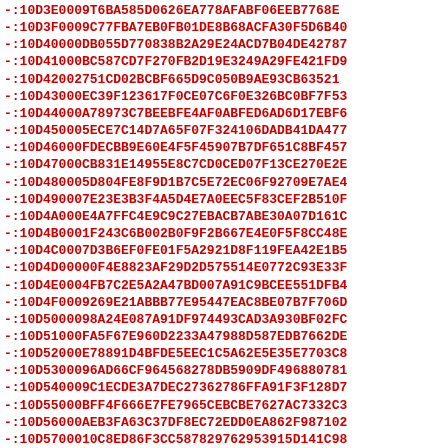-:10D3E0009T6BA585D0626EA778AFABF06EEB7768E
-:10D3F0009C77FBA7EB0FB01DE8B68ACFA30F5D6B40
-:10D40000DB055D770838B2A29E24ACD7B04DE42787
-:10D41000BC587CD7F270FB2D19E3249A29FE421FD9
-:10D42002751CD02BCBF665D9C050B9AE93CB63521
-:10D43000EC39F123617F0CE07C6F0E326BC0BF7F53
-:10D44000A78973C7BEEBFE4AF0ABFED6AD6D17EBF6
-:10D450005ECE7C14D7A65F07F324106DADB41DA477
-:10D46000FDECBB9E60E4F5F45907B7DF651C8BF457
-:10D47000CB831E14955E8C7CD0CED07F13CE270E2E
-:10D480005D804FE8F9D1B7C5E72EC06F92709E7AE4
-:10D490007E23E3B3F4A5D4E7A0EEC5F83CEF2B510F
-:10D4A000E4A7FFC4E9C9C27EBACB7ABE30A07D161C
-:10D4B0001F243C6B002B0F9F2B667E4E0F5F8CC48E
-:10D4C0007D3B6EF0FE01F5A2921D8F119FEA42E1B5
-:10D4D00000F4E8823AF29D2D575514E0772C93E33F
-:10D4E0004FB7C2E5A2A47BD007A91C9BCEE551DFB4
-:10D4F0009269E21ABBB77E95447EAC8BE07B7F706D
-:10D5000098A24E087A91DF974493CAD3A930BF02FC
-:10D51000FA5F67E960D2233A47988D587EDB7662DE
-:10D52000E78891D4BFDE5EEC1C5A62E5E35E7703C8
-:10D5300096AD66CF964568278DB5909DF496880781
-:10D540009C1ECDE3A7DEC27362786FFA91F3F128D7
-:10D55000BFF4F666E7FE7965CEBCBE7627AC7332C3
-:10D56000AEB3FA63C37DF8EC72EDD0EA862F987102
-:10D5700010C8ED86F3CC587829762953915D141C98
-:10D5800076BD8E65F1A781B83C27DA9F527F10F6F1
-:10D59000E945E2904A7AB8BE30E93CCB3416A19F07
-:10D5A00069009DDF28257FE776AB28E5B9C8043EF2
-:10D5B00005B6C060F399533471488946 28E7A9C17C
-:10D5C0002158EE62012A27D1DBB27F157E29D96B6B